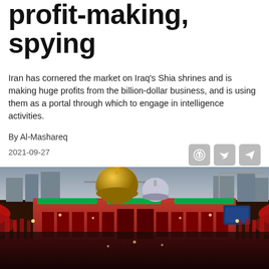profit-making, spying
Iran has cornered the market on Iraq's Shia shrines and is making huge profits from the billion-dollar business, and is using them as a portal through which to engage in intelligence activities.
By Al-Mashareq
2021-09-27
[Figure (photo): Aerial view of a large Shia shrine complex in Iraq, likely Karbala, with golden dome, silver dome, red arch decorations, green LED signs, and a massive crowd of pilgrims gathered around the complex at dusk.]